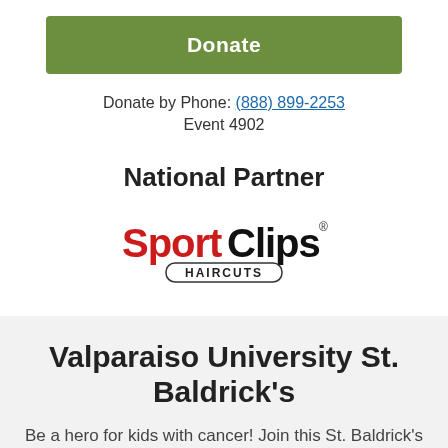Donate
Donate by Phone: (888) 899-2253
Event 4902
National Partner
[Figure (logo): Sport Clips Haircuts logo — 'Sport' in red bold, 'Clips' in black bold, 'HAIRCUTS' in smaller caps below inside a rounded rectangle border]
Valparaiso University St. Baldrick's
Be a hero for kids with cancer! Join this St. Baldrick's event, and whether you decide to shave your head, volunteer, or donate, we hope you'll be a part of the